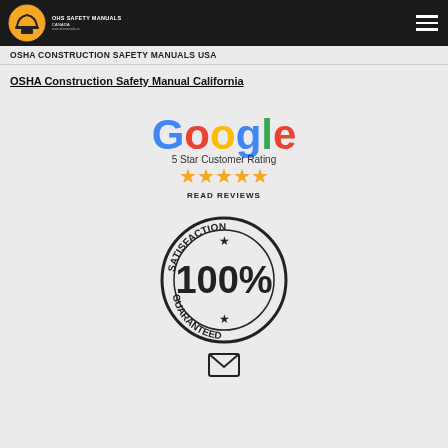OHS Safety Manuals Canada
OSHA CONSTRUCTION SAFETY MANUALS USA
OSHA Construction Safety Manual California
[Figure (logo): Google 5 Star Customer Rating with five gold stars and READ REVIEWS text]
[Figure (illustration): Satisfaction 100% Guaranteed stamp seal]
[Figure (illustration): Email envelope icon]